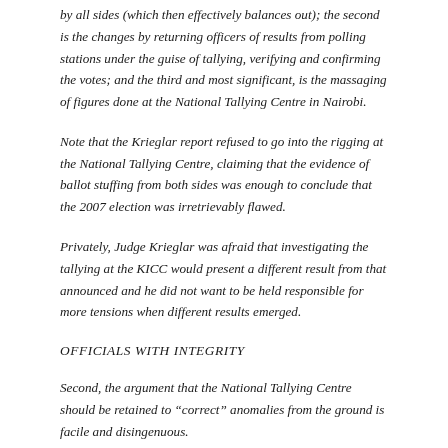by all sides (which then effectively balances out); the second is the changes by returning officers of results from polling stations under the guise of tallying, verifying and confirming the votes; and the third and most significant, is the massaging of figures done at the National Tallying Centre in Nairobi.
Note that the Krieglar report refused to go into the rigging at the National Tallying Centre, claiming that the evidence of ballot stuffing from both sides was enough to conclude that the 2007 election was irretrievably flawed.
Privately, Judge Krieglar was afraid that investigating the tallying at the KICC would present a different result from that announced and he did not want to be held responsible for more tensions when different results emerged.
OFFICIALS WITH INTEGRITY
Second, the argument that the National Tallying Centre should be retained to “correct” anomalies from the ground is facile and disingenuous.